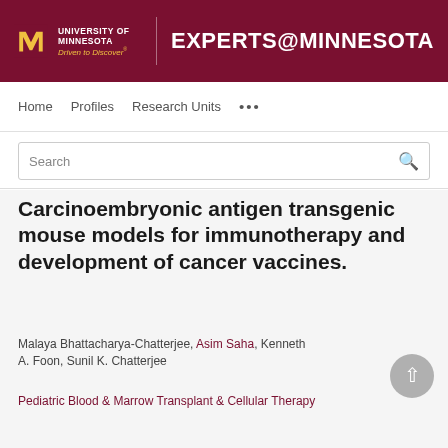UNIVERSITY OF MINNESOTA Driven to Discover® EXPERTS@MINNESOTA
Home   Profiles   Research Units   ...
Search
Carcinoembryonic antigen transgenic mouse models for immunotherapy and development of cancer vaccines.
Malaya Bhattacharya-Chatterjee, Asim Saha, Kenneth A. Foon, Sunil K. Chatterjee
Pediatric Blood & Marrow Transplant & Cellular Therapy